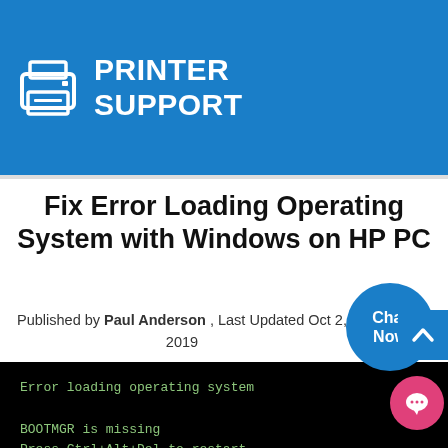PRINTER SUPPORT
Fix Error Loading Operating System with Windows on HP PC
Published by Paul Anderson , Last Updated Oct 2, 2019
[Figure (screenshot): Black terminal screen showing error messages: 'Error loading operating system', 'BOOTMGR is missing', 'Press Ctrl+Alt+Del to restart', and a cursor underscore.]